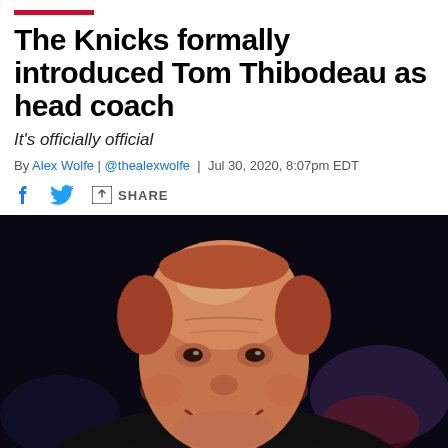The Knicks formally introduced Tom Thibodeau as head coach
It's officially official
By Alex Wolfe | @thealexwolfe | Jul 30, 2020, 8:07pm EDT
[Figure (photo): Tom Thibodeau smiling, photographed from below against a dark arena background, wearing a dark jacket]